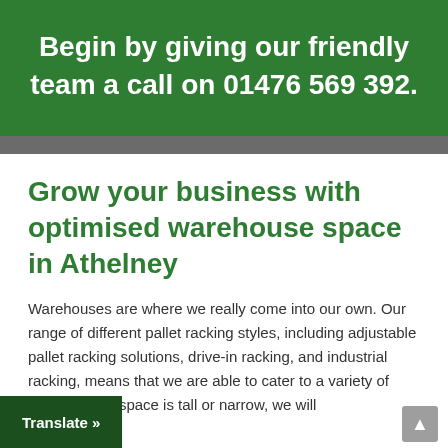Begin by giving our friendly team a call on 01476 569 392.
Grow your business with optimised warehouse space in Athelney
Warehouses are where we really come into our own. Our range of different pallet racking styles, including adjustable pallet racking solutions, drive-in racking, and industrial racking, means that we are able to cater to a variety of whether your space is tall or narrow, we will